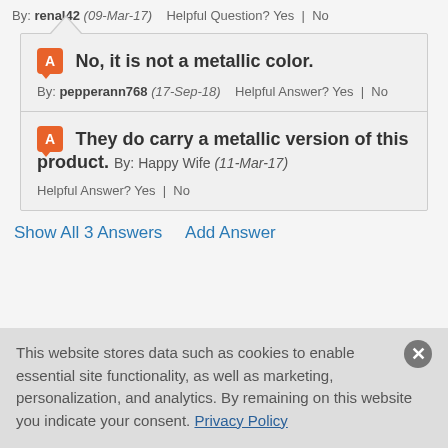By: renal42 (09-Mar-17)   Helpful Question? Yes | No
No, it is not a metallic color.
By: pepperann768 (17-Sep-18)   Helpful Answer? Yes | No
They do carry a metallic version of this product. By: Happy Wife (11-Mar-17)
Helpful Answer? Yes | No
Show All 3 Answers    Add Answer
This website stores data such as cookies to enable essential site functionality, as well as marketing, personalization, and analytics. By remaining on this website you indicate your consent. Privacy Policy